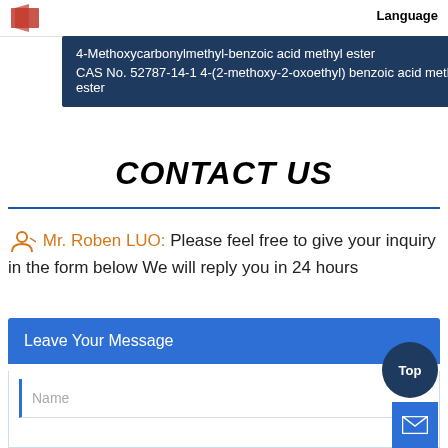4-Methoxycarbonylmethyl-benzoic acid methyl ester CAS No. 52787-14-1 4-(2-methoxy-2-oxoethyl) benzoic acid methyl ester
CONTACT US
Mr. Roben LUO:  Please feel free to give your inquiry in the form below We will reply you in 24 hours
Leave Your Message
Name